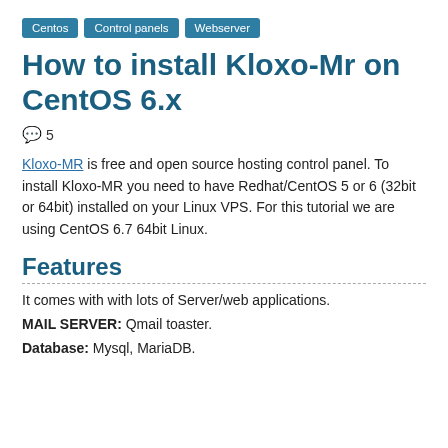Centos  Control panels  Webserver
How to install Kloxo-Mr on CentOS 6.x
💬 5
Kloxo-MR is free and open source hosting control panel. To install Kloxo-MR you need to have Redhat/CentOS 5 or 6 (32bit or 64bit) installed on your Linux VPS. For this tutorial we are using CentOS 6.7 64bit Linux.
Features
It comes with with lots of Server/web applications.
MAIL SERVER: Qmail toaster.
Database: Mysql, MariaDB.